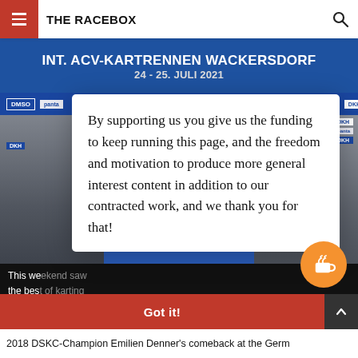THE RACEBOX
[Figure (photo): Karting podium scene at INT. ACV-KARTRENNEN WACKERSDORF event with two racers in race suits and masks holding trophies, DMSO and DKH sponsor banners visible in background]
By supporting us you give us the funding to keep running this page, and the freedom and motivation to produce more general interest content in addition to our contracted work, and we thank you for that!
This we... the bes... Learn m...
Got it!
2018 DSKC-Champion Emilien Denner's comeback at the Germ...